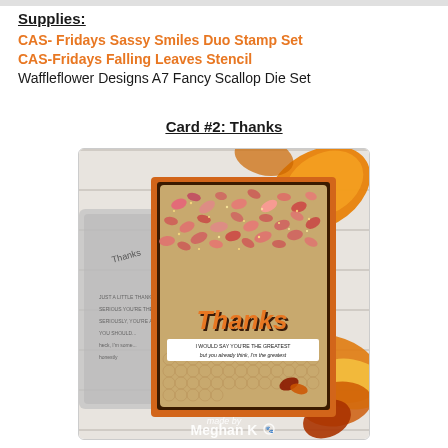Supplies:
CAS- Fridays Sassy Smiles Duo Stamp Set
CAS-Fridays Falling Leaves Stencil
Waffleflower Designs A7 Fancy Scallop Die Set
Card #2: Thanks
[Figure (photo): A handmade fall-themed greeting card with a brown kraft cardstock base, falling leaves stencil pattern in pink and rust tones with glitter, an orange scallop-edged mat, a bold 'Thanks' die-cut word in orange with dark brown shadow, a stamped sentiment strip reading 'I would say you're the greatest but you already think, I'm the greatest', and a couple of die-cut leaves at the bottom. The scene is staged on a white wood background with real and artificial autumn leaves and a grey stamp set in the background. A watermark at the bottom reads 'made by Meghan K' with a paw print icon.]